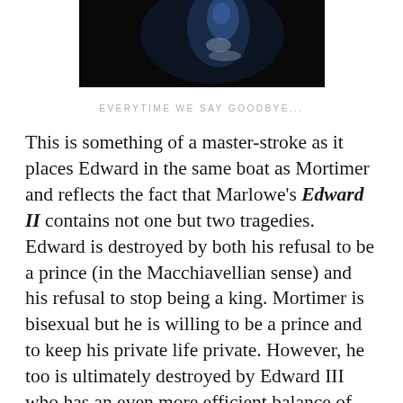[Figure (photo): Dark dramatic photograph showing a figure in blue against a very dark background, cropped at top of page]
EVERYTIME WE SAY GOODBYE...
This is something of a master-stroke as it places Edward in the same boat as Mortimer and reflects the fact that Marlowe's Edward II contains not one but two tragedies.  Edward is destroyed by both his refusal to be a prince (in the Macchiavellian sense) and his refusal to stop being a king.  Mortimer is bisexual but he is willing to be a prince and to keep his private life private.  However, he too is ultimately destroyed by Edward III who has an even more efficient balance of public and private lives… a child who is willing to be a prince and deal with his enemies